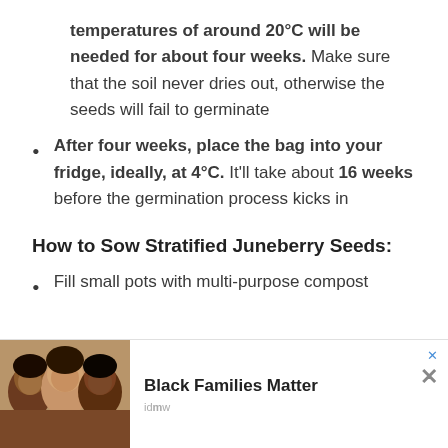temperatures of around 20°C will be needed for about four weeks. Make sure that the soil never dries out, otherwise the seeds will fail to germinate
After four weeks, place the bag into your fridge, ideally, at 4°C. It'll take about 16 weeks before the germination process kicks in
How to Sow Stratified Juneberry Seeds:
Fill small pots with multi-purpose compost
[Figure (photo): Advertisement banner showing three smiling people with text 'Black Families Matter' and close buttons]